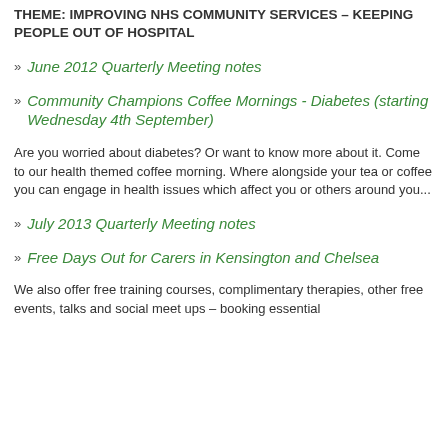September 2012 Quarterly Meeting notes
THEME: IMPROVING NHS COMMUNITY SERVICES – KEEPING PEOPLE OUT OF HOSPITAL
June 2012 Quarterly Meeting notes
Community Champions Coffee Mornings - Diabetes (starting Wednesday 4th September)
Are you worried about diabetes? Or want to know more about it. Come to our health themed coffee morning. Where alongside your tea or coffee you can engage in health issues which affect you or others around you...
July 2013 Quarterly Meeting notes
Free Days Out for Carers in Kensington and Chelsea
We also offer free training courses, complimentary therapies, other free events, talks and social meet ups – booking essential